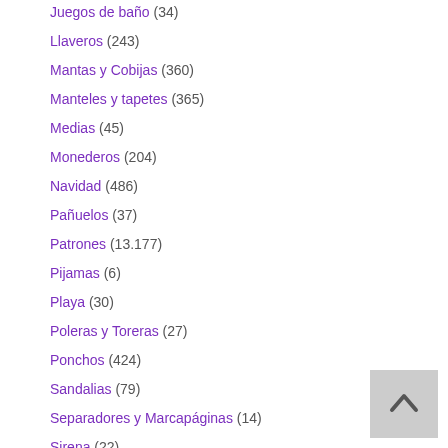Juegos de baño (34)
Llaveros (243)
Mantas y Cobijas (360)
Manteles y tapetes (365)
Medias (45)
Monederos (204)
Navidad (486)
Pañuelos (37)
Patrones (13.177)
Pijamas (6)
Playa (30)
Poleras y Toreras (27)
Ponchos (424)
Sandalias (79)
Separadores y Marcapáginas (14)
Sirena (22)
Sombreros y Pamelas (122)